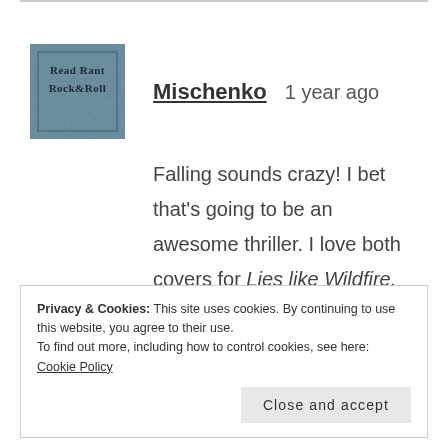[Figure (illustration): Avatar image for user Mischenko showing 'Read Rant Rock & Roll' blog logo with stylized text on a weathered blue-grey background]
Mischenko   1 year ago
Falling sounds crazy! I bet that's going to be an awesome thriller. I love both covers for Lies like Wildfire. More often than not, UK covers end up being my favorites.
Privacy & Cookies: This site uses cookies. By continuing to use this website, you agree to their use.
To find out more, including how to control cookies, see here: Cookie Policy
Close and accept